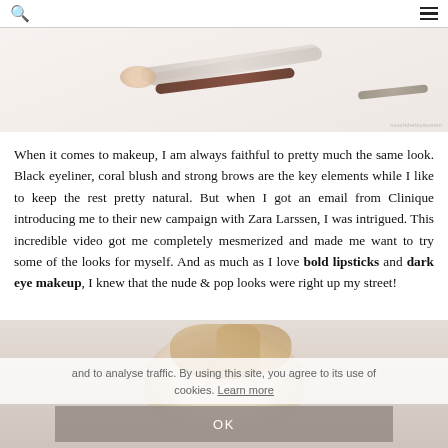Search | Menu
[Figure (photo): Top portion of a blog page showing cosmetic products (mascara wand, pencil, powder compact) on a light background, with a small photo credit watermark in the bottom right.]
When it comes to makeup, I am always faithful to pretty much the same look. Black eyeliner, coral blush and strong brows are the key elements while I like to keep the rest pretty natural. But when I got an email from Clinique introducing me to their new campaign with Zara Larssen, I was intrigued. This incredible video got me completely mesmerized and made me want to try some of the looks for myself. And as much as I love bold lipsticks and dark eye makeup, I knew that the nude & pop looks were right up my street!
and to analyse traffic. By using this site, you agree to its use of cookies. Learn more
OK
[Figure (photo): Bottom portion showing a young blonde woman looking downward, with a semi-transparent cookie consent overlay and an OK button on top.]